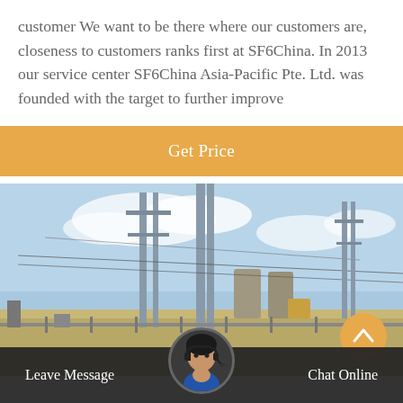customer We want to be there where our customers are, closeness to customers ranks first at SF6China. In 2013 our service center SF6China Asia-Pacific Pte. Ltd. was founded with the target to further improve
[Figure (other): Orange 'Get Price' call-to-action button bar]
[Figure (photo): Outdoor electrical substation with tall metal poles, power lines, high-voltage infrastructure, blue sky with clouds in background]
Leave Message   Chat Online